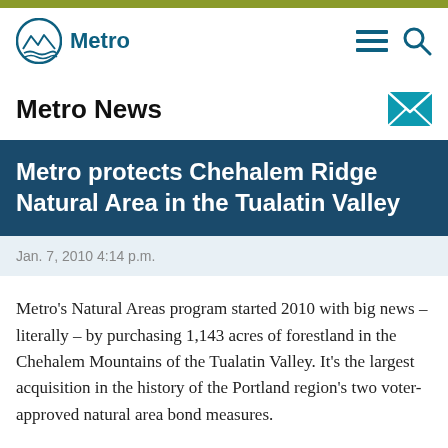[Figure (logo): Metro logo with circular mountain/wave icon and 'Metro' text in teal]
Metro News
Metro protects Chehalem Ridge Natural Area in the Tualatin Valley
Jan. 7, 2010 4:14 p.m.
Metro's Natural Areas program started 2010 with big news – literally – by purchasing 1,143 acres of forestland in the Chehalem Mountains of the Tualatin Valley. It's the largest acquisition in the history of the Portland region's two voter-approved natural area bond measures.